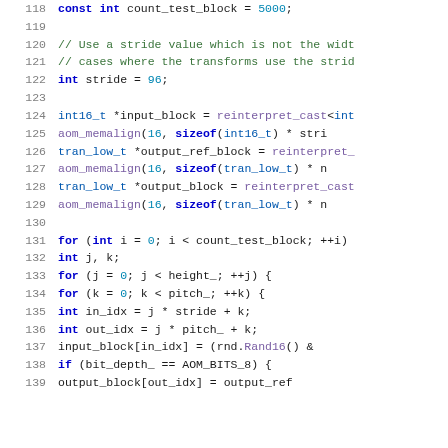[Figure (screenshot): Source code listing in C++ with syntax highlighting, showing lines 118–139. Line numbers in gray on the left, keywords in blue, comments in green, numeric literals in teal/blue, type names in dark blue, function calls in purple.]